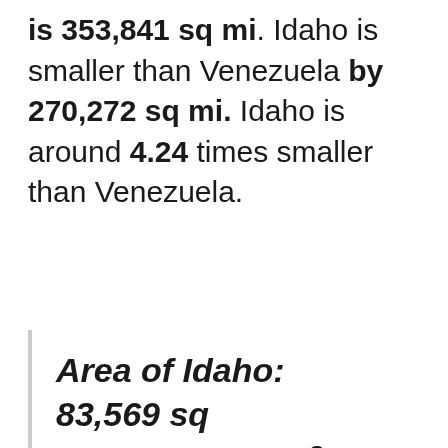is 353,841 sq mi. Idaho is smaller than Venezuela by 270,272 sq mi. Idaho is around 4.24 times smaller than Venezuela.
Area of Idaho: 83,569 sq mi ( 216,443 km² )